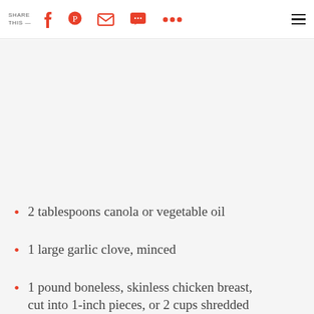SHARE THIS —
2 tablespoons canola or vegetable oil
1 large garlic clove, minced
1 pound boneless, skinless chicken breast, cut into 1-inch pieces, or 2 cups shredded